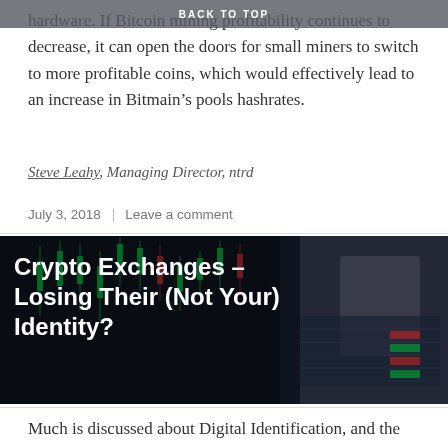BACK TO TOP
hardware. If Bitcoin mining profitability continues to decrease, it can open the doors for small miners to switch to more profitable coins, which would effectively lead to an increase in Bitmain’s pools hashrates.
Steve Leahy, Managing Director, ntrd
July 3, 2018    Leave a comment
[Figure (photo): Laptop computer displaying a cryptocurrency trading chart with green candlestick chart in the background, overlaid with the article title text]
Crypto Exchanges – Losing Their (Not Your) Identity?
Much is discussed about Digital Identification, and the